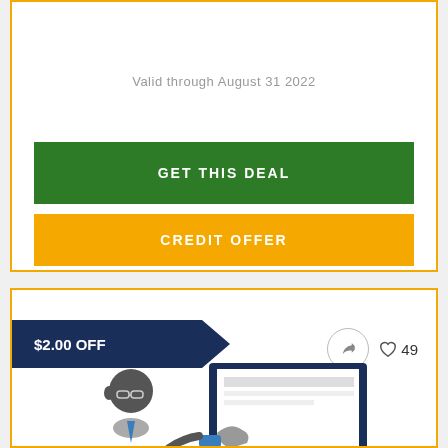Valid through August 31 2022
GET THIS DEAL
CREDIT OFFER
$2.00 OFF
49
[Figure (illustration): Illustration of a businessman looking at a computer screen with content being touched/interacted with]